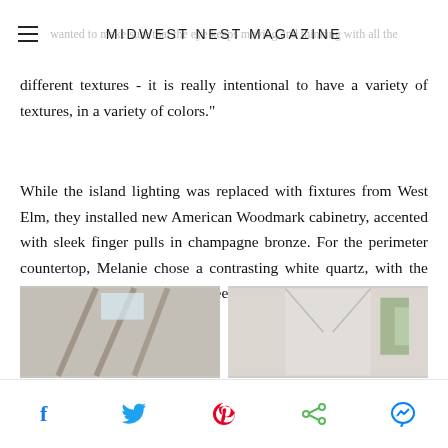MIDWEST NEST MAGAZINE
different textures - it is really intentional to have a variety of textures, in a variety of colors."
While the island lighting was replaced with fixtures from West Elm, they installed new American Woodmark cabinetry, accented with sleek finger pulls in champagne bronze. For the perimeter countertop, Melanie chose a contrasting white quartz, with the goal to make the center island feel more like a piece of furniture.
[Figure (photo): Two photos showing interior spaces, partially visible at bottom of page]
Social share bar with Facebook, Twitter, Pinterest, Share, and Messenger icons